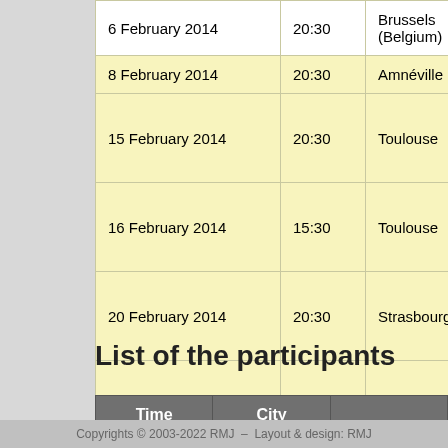| Date | Time | City | Venue |
| --- | --- | --- | --- |
| 6 February 2014 | 20:30 | Brussels (Belgium) | Palais 12 |
| 8 February 2014 | 20:30 | Amnéville | Galaxie |
| 15 February 2014 | 20:30 | Toulouse | Le Zénith de Toulo… |
| 16 February 2014 | 15:30 | Toulouse | Le Zénith de Toulo… |
| 20 February 2014 | 20:30 | Strasbourg | Le Zénith de Strash… |
| 22 February 2014 | 20:30 | Rouen | Le Zénith de Roue… |
| 23 February 2014 | 15:30 | Rouen | Le Zénith de Roue… |
List of the participants
| Time | City |  |
| --- | --- | --- |
Copyrights © 2003-2022 RMJ  –  Layout & design: RMJ